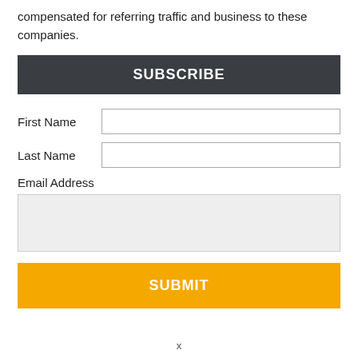compensated for referring traffic and business to these companies.
SUBSCRIBE
First Name
Last Name
Email Address
SUBMIT